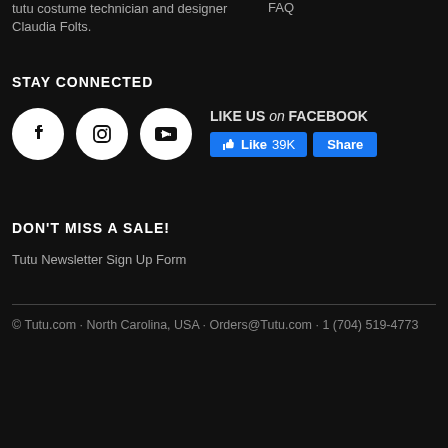tutu costume technician and designer Claudia Folts.
FAQ
STAY CONNECTED
[Figure (illustration): Three social media icon circles: Facebook (f), Instagram (camera), YouTube (play button)]
[Figure (illustration): Facebook like widget showing 'LIKE US on FACEBOOK' with Like 39K and Share buttons]
DON'T MISS A SALE!
Tutu Newsletter Sign Up Form
© Tutu.com · North Carolina, USA · Orders@Tutu.com · 1 (704) 519-4773